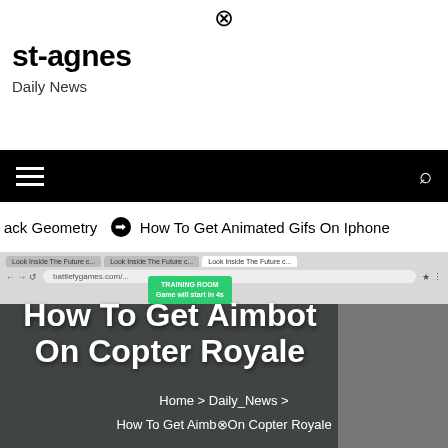st-agnes
Daily News
[Figure (screenshot): Navigation bar with hamburger menu icon on left and search icon on right, black background]
ack Geometry  ❯ How To Get Animated Gifs On Iphone
[Figure (screenshot): Browser screenshot showing a game website with a green TRAINING ROOM popup box]
How To Get Aimbot On Copter Royale
Home > Daily_News > How To Get Aimbot On Copter Royale